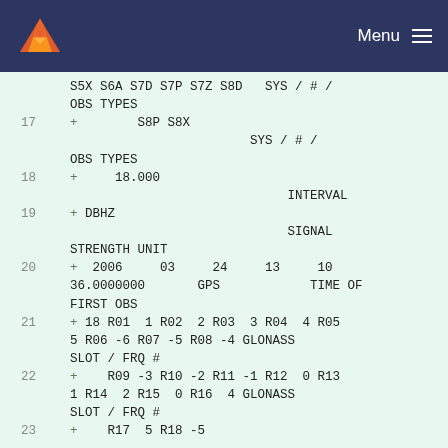Menu
S5X S6A S7D S7P S7Z S8D   SYS / # / OBS TYPES
17  +        S8P S8X
                            SYS / # /
OBS TYPES
18  +     18.000
                                 INTERVAL
19  + DBHZ
                                 SIGNAL
STRENGTH UNIT
20  +  2006     03     24     13     10
36.0000000       GPS            TIME OF
FIRST OBS
21  + 18 R01  1 R02  2 R03  3 R04  4 R05
5 R06 -6 R07 -5 R08 -4 GLONASS
SLOT / FRQ #
22  +    R09 -3 R10 -2 R11 -1 R12  0 R13
1 R14  2 R15  0 R16  4 GLONASS
SLOT / FRQ #
23  +    R17  5 R18 -5